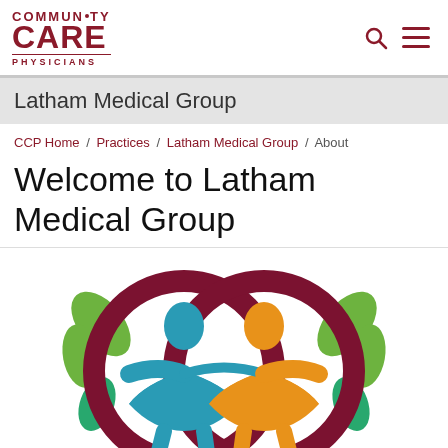[Figure (logo): Community Care Physicians logo with search and menu icons]
Latham Medical Group
CCP Home / Practices / Latham Medical Group / About
Welcome to Latham Medical Group
[Figure (logo): Community Care Physicians illustrated logo showing two stylized human figures in teal and orange with leaf designs in green, surrounded by two interlocking dark red circles]